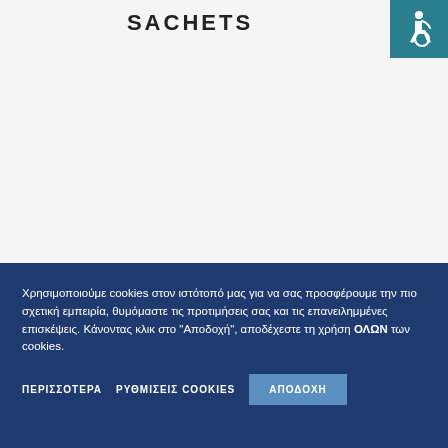SACHETS
[Figure (logo): Accessibility icon — white wheelchair user symbol on teal/dark cyan background]
Χρησιμοποιούμε cookies στον ιστότοπό μας για να σας προσφέρουμε την πιο σχετική εμπειρία, θυμόμαστε τις προτιμήσεις σας και τις επανειλημμένες επισκέψεις. Κάνοντας κλικ στο "Αποδοχή", αποδέχεστε τη χρήση ΟΛΩΝ των cookies.
ΠΕΡΙΣΣΟΤΕΡΑ   ΡΥΘΜΙΣΕΙΣ COOKIES   ΑΠΟΔΟΧΗ